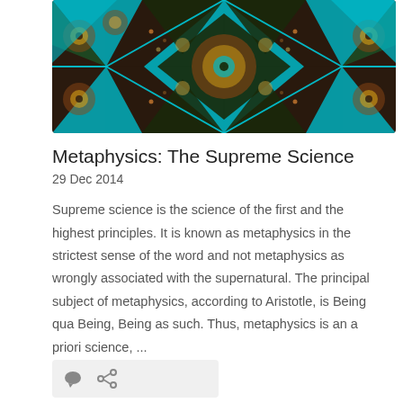[Figure (photo): Close-up of intricate Islamic geometric mosaic tile work in turquoise, blue, brown and multicolor patterns]
Metaphysics: The Supreme Science
29 Dec 2014
Supreme science is the science of the first and the highest principles. It is known as metaphysics in the strictest sense of the word and not metaphysics as wrongly associated with the supernatural. The principal subject of metaphysics, according to Aristotle, is Being qua Being, Being as such. Thus, metaphysics is an a priori science, ... More